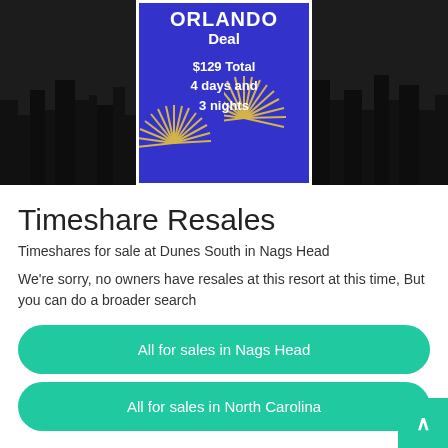[Figure (illustration): Dark banner background with city skyline silhouette, containing an Orlando Deal promotional card with blue background showing fireworks, text 'ORLANDO Deal $129 Total 4 days and 3 nights']
Timeshare Resales
Timeshares for sale at Dunes South in Nags Head
We're sorry, no owners have resales at this resort at this time, But you can do a broader search
All for sales in Nags Head
All for sales in North Carolina